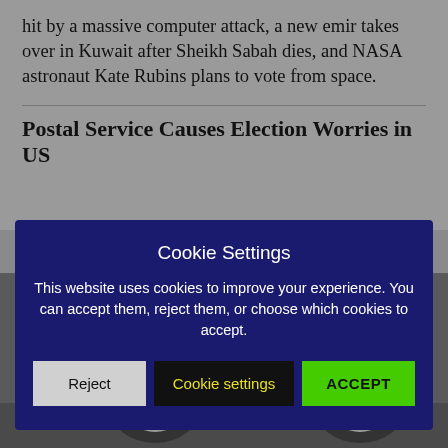hit by a massive computer attack, a new emir takes over in Kuwait after Sheikh Sabah dies, and NASA astronaut Kate Rubins plans to vote from space.
Postal Service Causes Election Worries in US
Cookie Settings
This website uses cookies to improve your experience. You can accept them, reject them, or choose which cookies to accept.
[Figure (screenshot): Cookie consent modal with three buttons: Reject (gray), Cookie settings (black with yellow text), ACCEPT (green)]
[Figure (photo): Grayscale photo of the side of a white postal delivery van]